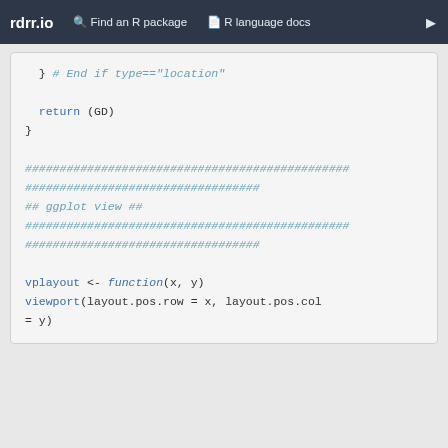rdrr.io   Find an R package   R language docs
} # End if type=="location"

  return (GD)
}

################################################
##################################
## ggplot view ##
################################################
##################################

vplayout <- function(x, y)
viewport(layout.pos.row = x, layout.pos.col = y)